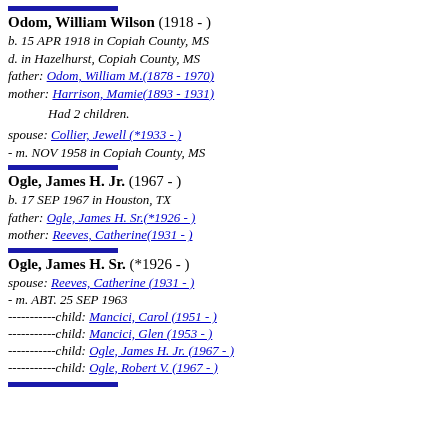Odom, William Wilson (1918 - )
b. 15 APR 1918 in Copiah County, MS
d. in Hazelhurst, Copiah County, MS
father: Odom, William M.(1878 - 1970)
mother: Harrison, Mamie(1893 - 1931)
Had 2 children.
spouse: Collier, Jewell (*1933 - )
- m. NOV 1958 in Copiah County, MS
Ogle, James H. Jr. (1967 - )
b. 17 SEP 1967 in Houston, TX
father: Ogle, James H. Sr.(*1926 - )
mother: Reeves, Catherine(1931 - )
Ogle, James H. Sr. (*1926 - )
spouse: Reeves, Catherine (1931 - )
- m. ABT. 25 SEP 1963
-----------child: Mancici, Carol (1951 - )
-----------child: Mancici, Glen (1953 - )
-----------child: Ogle, James H. Jr. (1967 - )
-----------child: Ogle, Robert V. (1967 - )